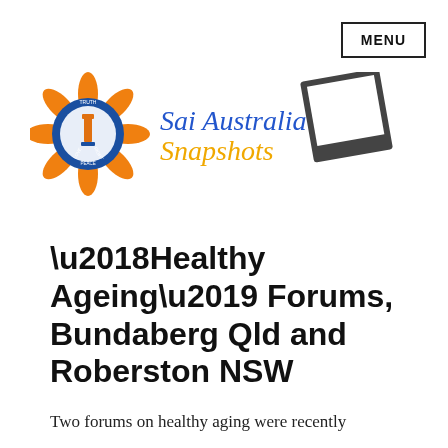MENU
[Figure (logo): Sai Australia Snapshots logo with circular blue and orange emblem containing a lighthouse/tower, petals, and text TRUTH, NON-VIOLENCE, RIGHT CONDUCT, LOVE, PEACE around the circle. Text reads 'Sai Australia Snapshots' with a polaroid photo graphic.]
‘Healthy Ageing’ Forums, Bundaberg Qld and Roberston NSW
Two forums on healthy aging were recently